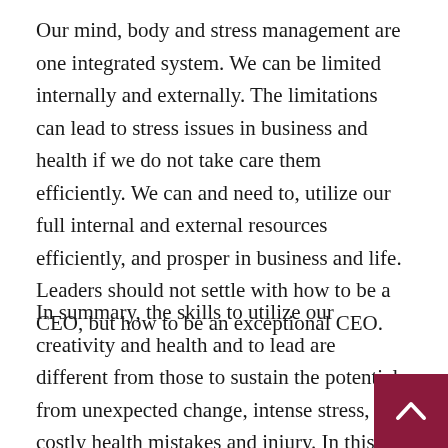Our mind, body and stress management are one integrated system. We can be limited internally and externally. The limitations can lead to stress issues in business and health if we do not take care them efficiently. We can and need to, utilize our full internal and external resources efficiently, and prosper in business and life. Leaders should not settle with how to be a CEO, but how to be an exceptional CEO.
In summary, the skills to utilize our creativity and health and to lead are different from those to sustain the potential from unexpected change, intense stress, costly health mistakes and injury. In this age of intense competition, CEOs need these skills to stay at their optimal level and save subsequent agony from CEO stress. It is not hard to identify your “missing software” and build a firewall for your leadership in just a few hours. This is not only about how to be a CEO, one key